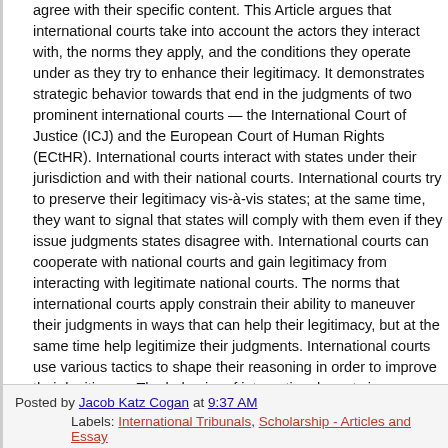agree with their specific content. This Article argues that international courts take into account the actors they interact with, the norms they apply, and the conditions they operate under as they try to enhance their legitimacy. It demonstrates strategic behavior towards that end in the judgments of two prominent international courts — the International Court of Justice (ICJ) and the European Court of Human Rights (ECtHR). International courts interact with states under their jurisdiction and with their national courts. International courts try to preserve their legitimacy vis-à-vis states; at the same time, they want to signal that states will comply with them even if they issue judgments states disagree with. International courts can cooperate with national courts and gain legitimacy from interacting with legitimate national courts. The norms that international courts apply constrain their ability to maneuver their judgments in ways that can help their legitimacy, but at the same time help legitimize their judgments. International courts use various tactics to shape their reasoning in order to improve their legitimacy. The behavior of international courts is scrutinized by the domestic public within each state. That public has certain agendas, priorities and preferences. The domestic public's agenda is a condition that the court must respond to, but sometimes courts can also shape that agenda to their benefit.
Posted by Jacob Katz Cogan at 9:37 AM
Labels: International Tribunals, Scholarship - Articles and Essays